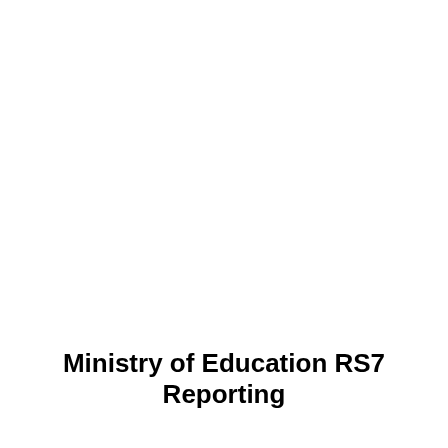Ministry of Education RS7 Reporting